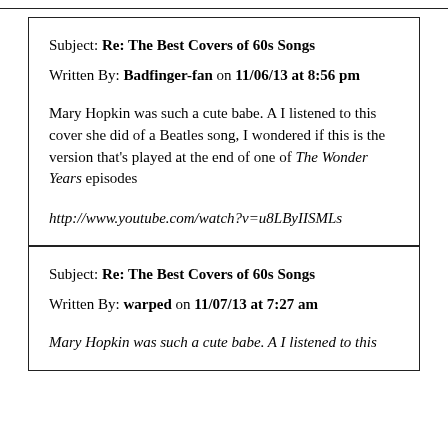Subject: Re: The Best Covers of 60s Songs
Written By: Badfinger-fan on 11/06/13 at 8:56 pm
Mary Hopkin was such a cute babe. A I listened to this cover she did of a Beatles song, I wondered if this is the version that's played at the end of one of The Wonder Years episodes
http://www.youtube.com/watch?v=u8LByIISMLs
Subject: Re: The Best Covers of 60s Songs
Written By: warped on 11/07/13 at 7:27 am
Mary Hopkin was such a cute babe. A I listened to this